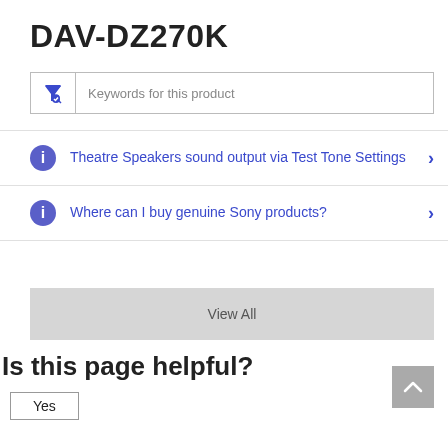DAV-DZ270K
[Figure (screenshot): Search/filter input box with funnel icon and placeholder text 'Keywords for this product']
Theatre Speakers sound output via Test Tone Settings
Where can I buy genuine Sony products?
View All
Is this page helpful?
Yes